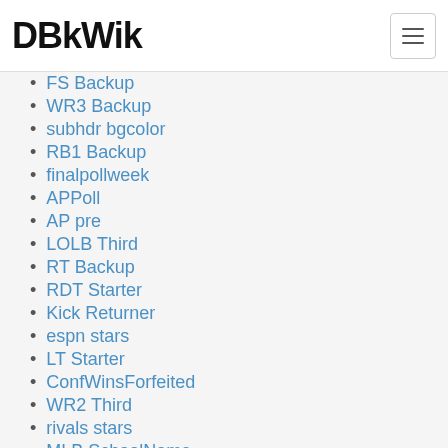DBkWik
FS Backup
WR3 Backup
subhdr bgcolor
RB1 Backup
finalpollweek
APPoll
AP pre
LOLB Third
RT Backup
RDT Starter
Kick Returner
espn stars
LT Starter
ConfWinsForfeited
WR2 Third
rivals stars
MLB SchoolName
SB2 Starter
DB1 Starter
LILB SchoolName